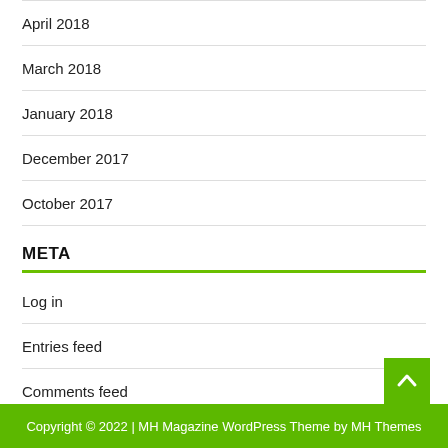April 2018
March 2018
January 2018
December 2017
October 2017
META
Log in
Entries feed
Comments feed
WordPress.org
Copyright © 2022 | MH Magazine WordPress Theme by MH Themes